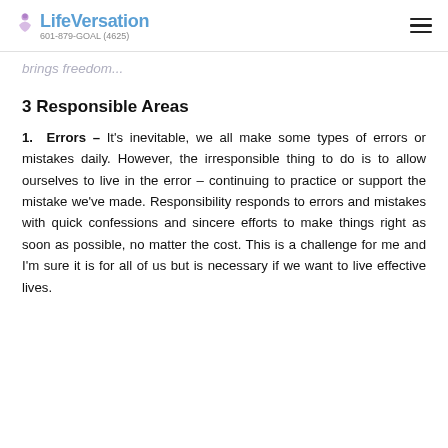LifeVersation 601-879-GOAL (4625)
brings freedom...
3 Responsible Areas
1. Errors – It's inevitable, we all make some types of errors or mistakes daily. However, the irresponsible thing to do is to allow ourselves to live in the error – continuing to practice or support the mistake we've made. Responsibility responds to errors and mistakes with quick confessions and sincere efforts to make things right as soon as possible, no matter the cost. This is a challenge for me and I'm sure it is for all of us but is necessary if we want to live effective lives.